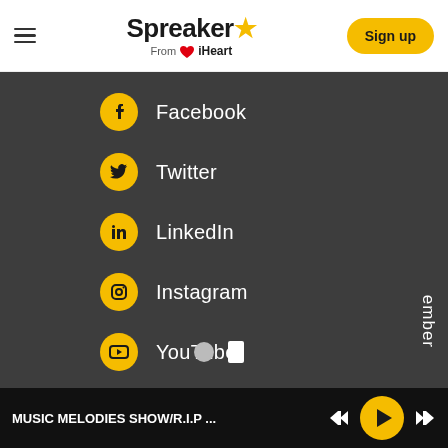Spreaker from iHeart — Sign up
Facebook
Twitter
LinkedIn
Instagram
YouTube
ember
MUSIC MELODIES SHOW/R.I.P ...